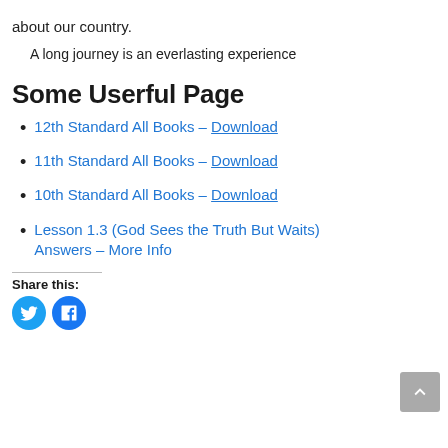about our country.
A long journey is an everlasting experience
Some Userful Page
12th Standard All Books – Download
11th Standard All Books – Download
10th Standard All Books – Download
Lesson 1.3 (God Sees the Truth But Waits) Answers – More Info
Share this: